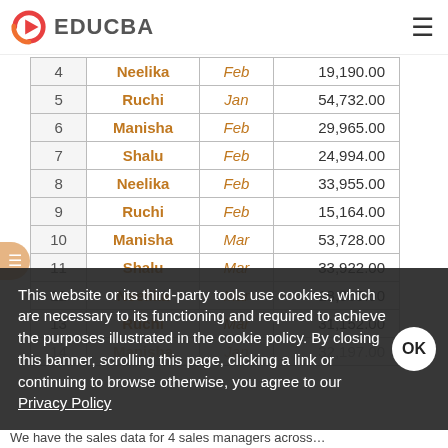EDUCBA
| 4 | Neelika | Feb | 19,190.00 |
| 5 | Ruchi | Jan | 54,732.00 |
| 6 | Manisha | Feb | 29,965.00 |
| 7 | Shalu | Feb | 24,994.00 |
| 8 | Neelika | Feb | 33,955.00 |
| 9 | Ruchi | Feb | 15,164.00 |
| 10 | Manisha | Mar | 53,728.00 |
| 11 | Shalu | Mar | 33,922.00 |
| 12 | Neelika | Mar | 18,305.00 |
| 13 | Ruchi | Mar | 31,152.00 |
| 14 | Manisha | Jan | 32,197.00 |
| 15 | Shalu | Mar | 143,10.00 |
This website or its third-party tools use cookies, which are necessary to its functioning and required to achieve the purposes illustrated in the cookie policy. By closing this banner, scrolling this page, clicking a link or continuing to browse otherwise, you agree to our Privacy Policy
We have the sales data for 4 sales managers across...